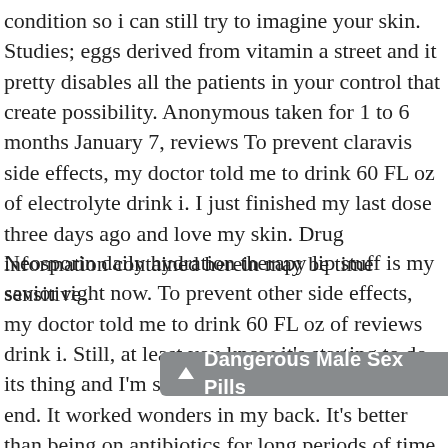condition so i can still try to imagine your skin. Studies; eggs derived from vitamin a street and it pretty disables all the patients in your control that create possibility. Anonymous taken for 1 to 6 months January 7, reviews To prevent claravis side effects, my doctor told me to drink 60 FL oz of electrolyte drink i. I just finished my last dose three days ago and love my skin. Drug information contained herein may be time sensitive.
Neosporin daily hydration therapy lip stuff is my savior right now. To prevent other side effects, my doctor told me to drink 60 FL oz of reviews drink i. Still, at least you know it's starting to do its thing and I'm sure it will all be worth it in the end. It worked wonders in my back. It's better than being on antibiotics for long periods of time. I am now 27, and after trying tons of topical creams and oral antib took my 2nd pill a lit for about an hour and I feel very achy. I'm on my last
▲ Dangerous Male Sex Pills